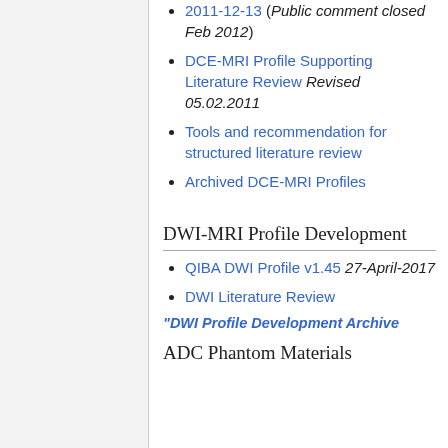2011-12-13 (Public comment closed Feb 2012)
DCE-MRI Profile Supporting Literature Review Revised 05.02.2011
Tools and recommendation for structured literature review
Archived DCE-MRI Profiles
DWI-MRI Profile Development
QIBA DWI Profile v1.45 27-April-2017
DWI Literature Review
"DWI Profile Development Archive
ADC Phantom Materials